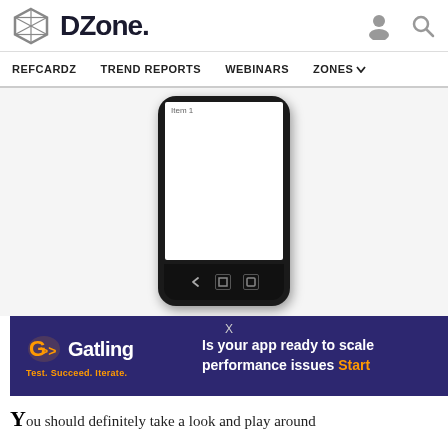DZone. — REFCARDZ  TREND REPORTS  WEBINARS  ZONES
[Figure (screenshot): Android smartphone mockup showing a white screen with 'Item 1' text label at the top, with three navigation buttons at the bottom (back, home, menu)]
[Figure (infographic): Gatling ad banner with dark blue/purple background. Gatling logo on left with tagline 'Test. Succeed. Iterate.' Text on right reads 'Is your app ready to scale performance issues Start' with 'Start' in orange. X close button at top center.]
You should definitely take a look and play around